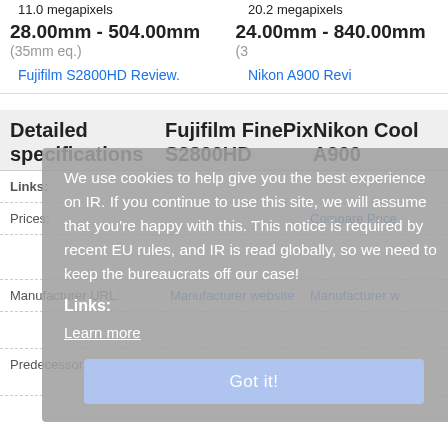11.0 megapixels | 20.2 megapixels
28.00mm - 504.00mm (35mm eq.) | 24.00mm - 840.00mm (35mm eq.)
Fujifilm S2800HD Review. | Nikon A900 Review
Detailed specifications
Fujifilm FinePix S2800HD | Nikon Coolpix A900
Links:
Prices: | Compare Prices
Manufacturer URL: | Manufacturer website | Manufacturer website
Predecessor: | Nikon S9900 / S9900 vs A900
We use cookies to help give you the best experience on IR. If you continue to use this site, we will assume that you're happy with this. This notice is required by recent EU rules, and IR is read globally, so we need to keep the bureaucrats off our case!
Learn more
Got it!